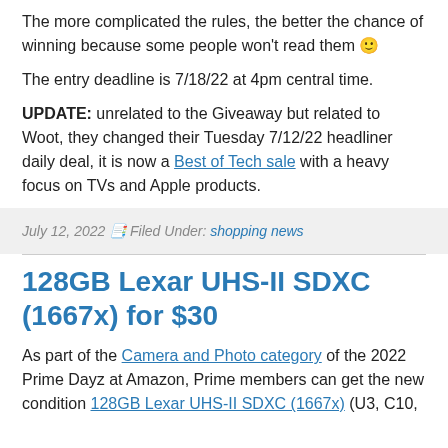The more complicated the rules, the better the chance of winning because some people won't read them 🙂
The entry deadline is 7/18/22 at 4pm central time.
UPDATE: unrelated to the Giveaway but related to Woot, they changed their Tuesday 7/12/22 headliner daily deal, it is now a Best of Tech sale with a heavy focus on TVs and Apple products.
July 12, 2022 🗋 Filed Under: shopping news
128GB Lexar UHS-II SDXC (1667x) for $30
As part of the Camera and Photo category of the 2022 Prime Dayz at Amazon, Prime members can get the new condition 128GB Lexar UHS-II SDXC (1667x) (U3, C10,